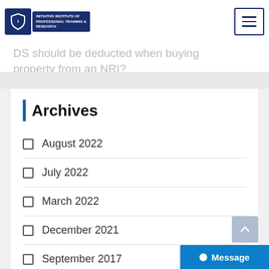Initiative Institute of Professional Training & Research
DS should be deducted when buying property from an NRI?
Archives
August 2022
July 2022
March 2022
December 2021
September 2017